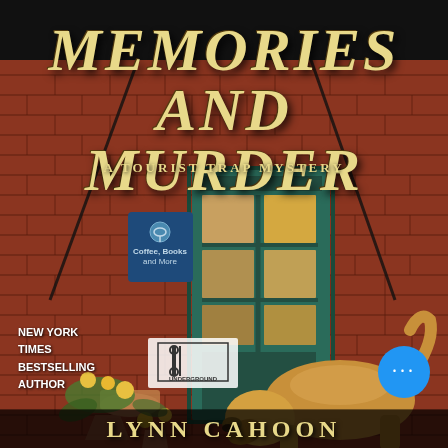[Figure (illustration): Book cover for 'Memories and Murder: A Tourist Trap Mystery' by Lynn Cahoon. Features a red brick wall background with a teal/green door at center showing books and items through glass panes. A golden retriever dog sniffs scattered flower pots and yellow flowers on the ground in front of the door. A 'Coffee, Books and More' sign is on the left side with a coffee cup logo. An 'Underground' publisher logo appears on the lower left. A blue circular button with three dots appears bottom right. Text reads 'NEW YORK TIMES BESTSELLING AUTHOR' at lower left.]
MEMORIES AND MURDER
A TOURIST TRAP MYSTERY
NEW YORK TIMES BESTSELLING AUTHOR
LYNN CAHOON